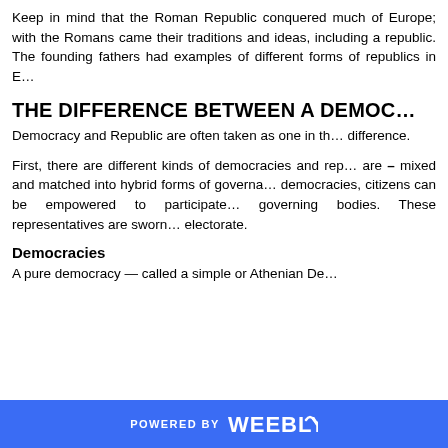Keep in mind that the Roman Republic conquered much of Europe; with the Romans came their traditions and ideas, including a republic. The founding fathers had examples of different forms of republics in Europe.
THE DIFFERENCE BETWEEN A DEMOCRACY AND...
Democracy and Republic are often taken as one in the same, but there is a difference.
First, there are different kinds of democracies and republics, and they are – mixed and matched into hybrid forms of governance. In direct democracies, citizens can be empowered to participate directly in governing bodies. These representatives are sworn to represent the electorate.
Democracies
A pure democracy — called a simple or Athenian De...
POWERED BY weebly